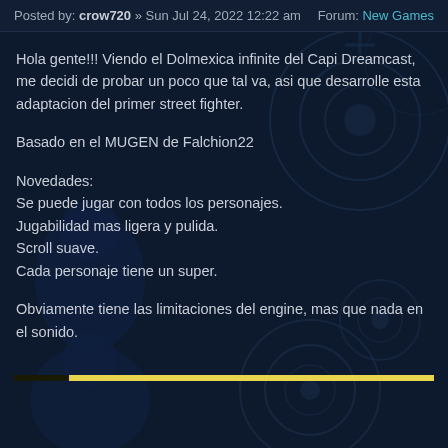Posted by: crow720 » Sun Jul 24, 2022 12:22 am    Forum: New Games
Hola gente!!! Viendo el Dolmexica infinite del Capi Dreamcast, me decidi de probar un poco que tal va, asi que desarrolle esta adaptacion del primer street fighter.
Basado en el MUGEN de Falchion22
Novedades:
Se puede jugar con todos los personajes.
Jugabilidad mas ligera y pulida.
Scroll suave.
Cada personaje tiene un super.
Obviamente tiene las limitaciones del engine, mas que nada en el sonido.